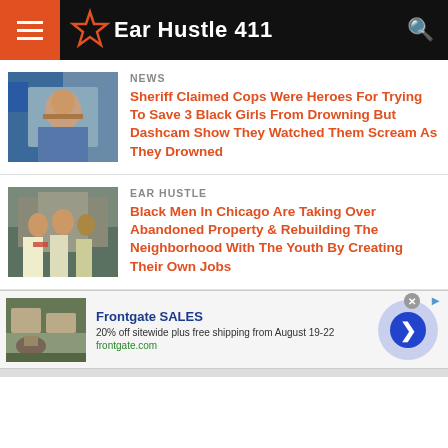Ear Hustle 411
NEWS
Sheriff Claimed Cops Were Heroes For Trying To Save 3 Black Girls From Drowning But Dashcam Show They Watched Them Scream As They Drowned
EAR HUSTLE
Black Men In Chicago Are Taking Over Abandoned Property & Rebuilding The Neighborhood With The Youth By Creating Their Own Jobs
[Figure (photo): Ad image showing outdoor furniture with fire pit - Frontgate SALES]
Frontgate SALES
20% off sitewide plus free shipping from August 19-22
frontgate.com